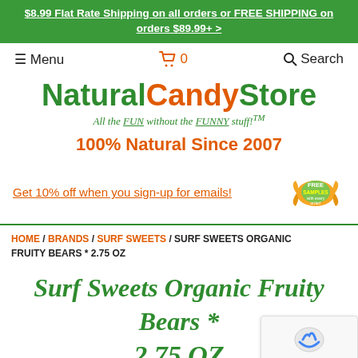$8.99 Flat Rate Shipping on all orders or FREE SHIPPING on orders $89.99+ >
≡ Menu   🛒 0   🔍 Search
[Figure (logo): NaturalCandyStore logo with tagline 'All the FUN without the FUNNY stuff!™' and '100% Natural Since 2007']
Get 10% off when you sign-up for emails!
HOME / BRANDS / SURF SWEETS / SURF SWEETS ORGANIC FRUITY BEARS * 2.75 OZ
Surf Sweets Organic Fruity Bears * 2.75 OZ